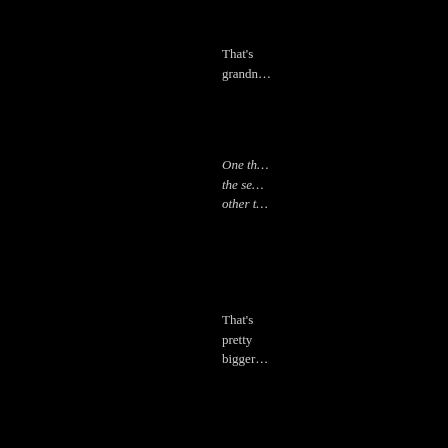That's grandm…
One th… the se… other t…
That's pretty bigger…
It make… individ… weren't…
I reca… Secret…
I thoug… must h… everyo…
One th… missin…
Agree…